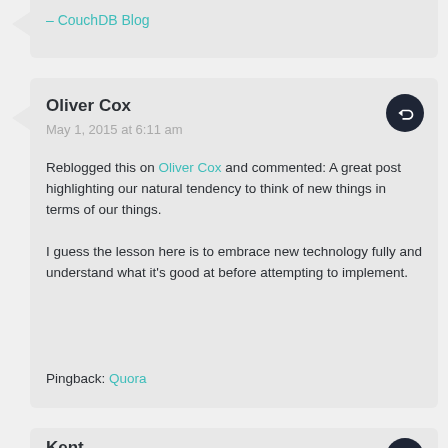– CouchDB Blog
Oliver Cox
May 1, 2015 at 6:11 am
Reblogged this on Oliver Cox and commented: A great post highlighting our natural tendency to think of new things in terms of our things.

I guess the lesson here is to embrace new technology fully and understand what it's good at before attempting to implement.
Pingback: Quora
Kent
November 29, 2021 at 8:37 pm